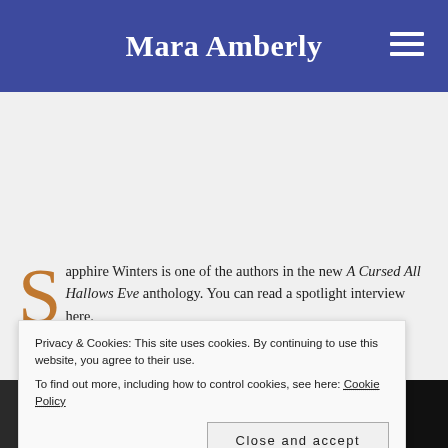Mara Amberly
Sapphire Winters is one of the authors in the new A Cursed All Hallows Eve anthology. You can read a spotlight interview here.
Privacy & Cookies: This site uses cookies. By continuing to use this website, you agree to their use. To find out more, including how to control cookies, see here: Cookie Policy
[Figure (photo): Dark photograph showing a partially visible person, bottom portion of page]
Close and accept